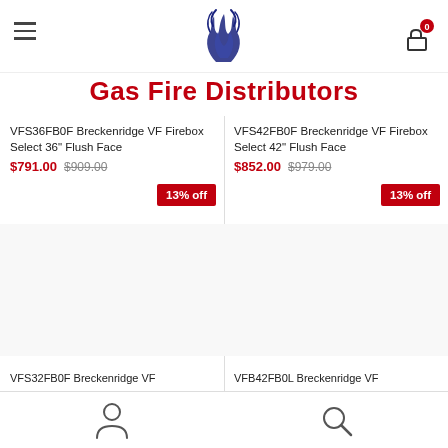[Figure (logo): Gas fire flame logo in dark blue/navy]
Gas Fire Distributors
VFS36FB0F Breckenridge VF Firebox Select 36" Flush Face
$791.00 $909.00
13% off
VFS42FB0F Breckenridge VF Firebox Select 42" Flush Face
$852.00 $979.00
13% off
VFS32FB0F Breckenridge VF
VFB42FB0L Breckenridge VF